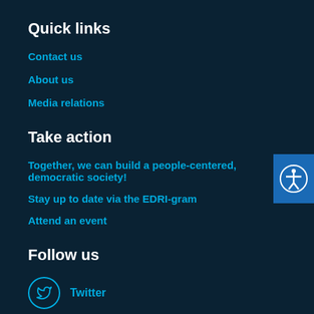Quick links
Contact us
About us
Media relations
Take action
Together, we can build a people-centered, democratic society!
Stay up to date via the EDRI-gram
Attend an event
Follow us
Twitter
Facebook
[Figure (illustration): Accessibility icon button (person with arms outstretched in circle) on blue background, positioned at right edge]